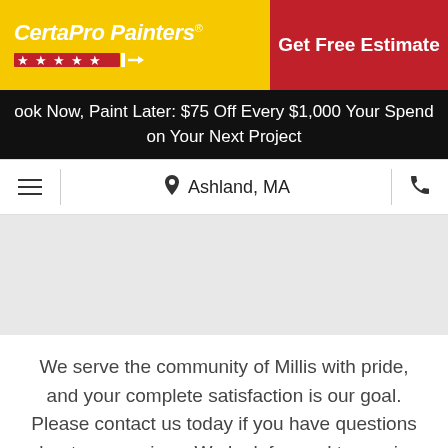[Figure (logo): CertaPro Painters logo with yellow background, white italic text, stars, and brush icon]
[Figure (infographic): Red CTA button area reading Get Free Estimate]
ook Now, Paint Later: $75 Off Every $1,000 Your Spend on Your Next Project
Ashland, MA
[Figure (map): Gray map area showing local area]
We serve the community of Millis with pride, and your complete satisfaction is our goal. Please contact us today if you have questions about our services. We look forward to serving you and as